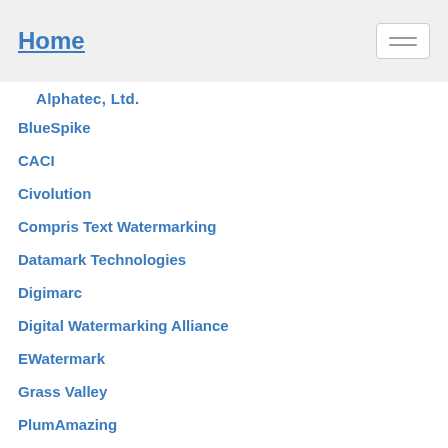Home
Alphatec, Ltd.
BlueSpike
CACI
Civolution
Compris Text Watermarking
Datamark Technologies
Digimarc
Digital Watermarking Alliance
EWatermark
Grass Valley
PlumAmazing
Johnson and Johnson - Consultants
MarkAny
Signum